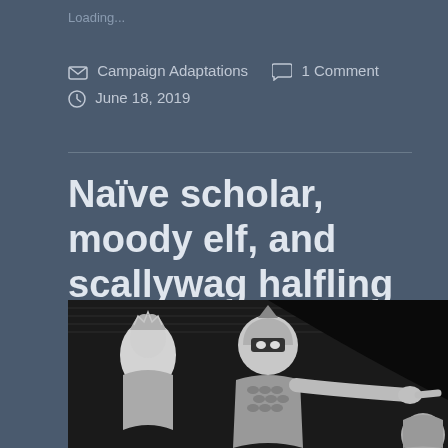Loading...
Campaign Adaptations   1 Comment
June 18, 2019
Naïve scholar, moody elf, and scallywag halfling
[Figure (illustration): Black and white comic-style illustration showing fantasy characters: an elf-like figure with a crown on the left, a helmeted armored warrior in the center pointing to the right, and partially visible character on the lower right.]